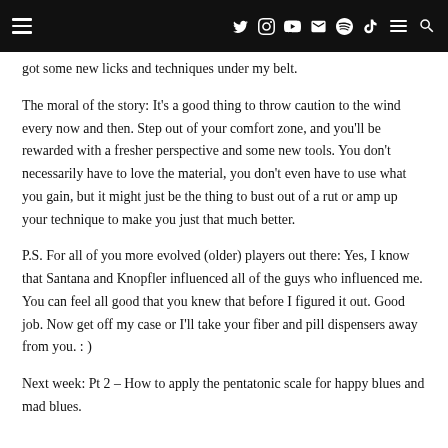Navigation bar with hamburger menu, social icons (Twitter, Instagram, YouTube, Email, Spotify, TikTok), menu, and search
got some new licks and techniques under my belt.
The moral of the story: It's a good thing to throw caution to the wind every now and then. Step out of your comfort zone, and you'll be rewarded with a fresher perspective and some new tools. You don't necessarily have to love the material, you don't even have to use what you gain, but it might just be the thing to bust out of a rut or amp up your technique to make you just that much better.
P.S. For all of you more evolved (older) players out there: Yes, I know that Santana and Knopfler influenced all of the guys who influenced me. You can feel all good that you knew that before I figured it out. Good job. Now get off my case or I'll take your fiber and pill dispensers away from you. : )
Next week: Pt 2 – How to apply the pentatonic scale for happy blues and mad blues.